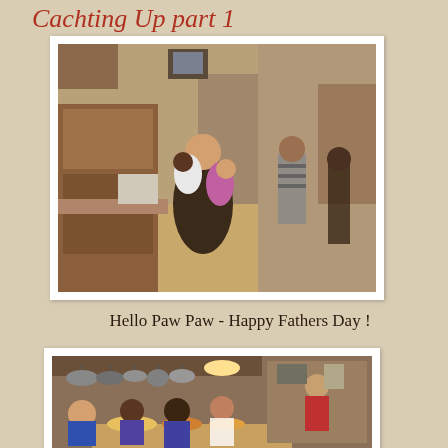Cachting Up part 1
[Figure (photo): Indoor kitchen/living area scene with a person holding two young children, others visible in the background]
Hello Paw Paw - Happy Fathers Day !
[Figure (photo): Family gathering around a dining table with food, multiple children and adults visible in a kitchen setting]